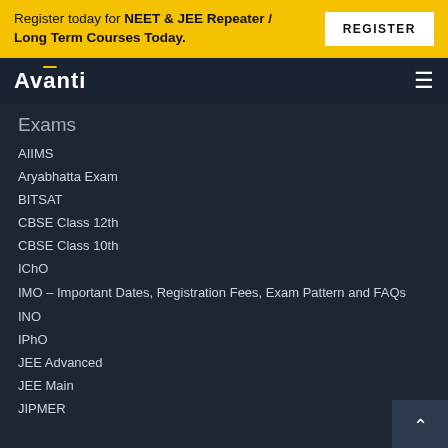Register today for NEET & JEE Repeater / Long Term Courses Today.
REGISTER
[Figure (logo): Avanti logo in white on dark navy background]
Exams
AIIMS
Aryabhatta Exam
BITSAT
CBSE Class 12th
CBSE Class 10th
IChO
IMO – Important Dates, Registration Fees, Exam Pattern and FAQs
INO
IPhO
JEE Advanced
JEE Main
JIPMER